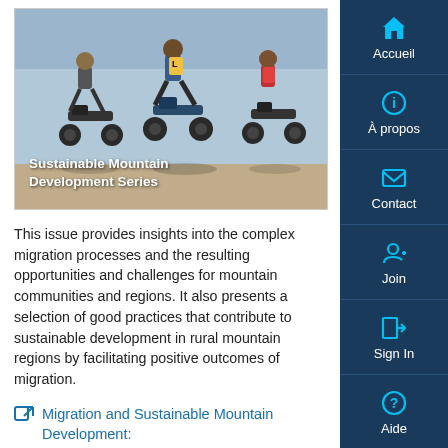[Figure (photo): Cover image of publication 'Sustainable Mountain Development Series' showing motorcyclists riding away on a dusty road]
This issue provides insights into the complex migration processes and the resulting opportunities and challenges for mountain communities and regions. It also presents a selection of good practices that contribute to sustainable development in rural mountain regions by facilitating positive outcomes of migration.
Migration and Sustainable Mountain Development: Turning Challenges into Opportunities
Date de
31 déc 2019